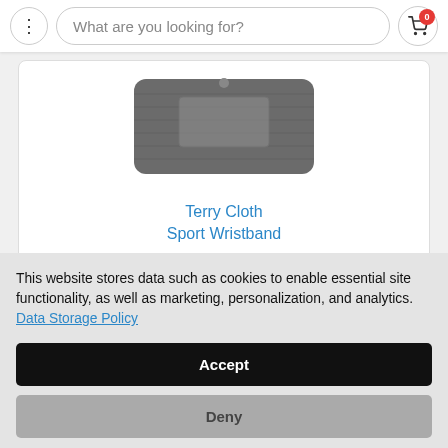What are you looking for?
[Figure (photo): Product photo of a grey terry cloth sport wristband]
Terry Cloth Sport Wristband
This website stores data such as cookies to enable essential site functionality, as well as marketing, personalization, and analytics. Data Storage Policy
Accept
Deny